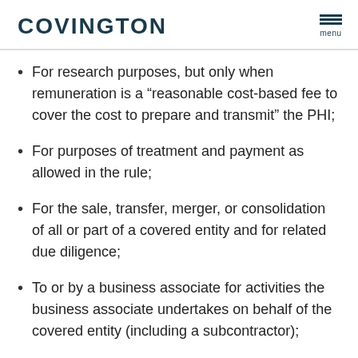COVINGTON
For research purposes, but only when remuneration is a “reasonable cost-based fee to cover the cost to prepare and transmit” the PHI;
For purposes of treatment and payment as allowed in the rule;
For the sale, transfer, merger, or consolidation of all or part of a covered entity and for related due diligence;
To or by a business associate for activities the business associate undertakes on behalf of the covered entity (including a subcontractor);